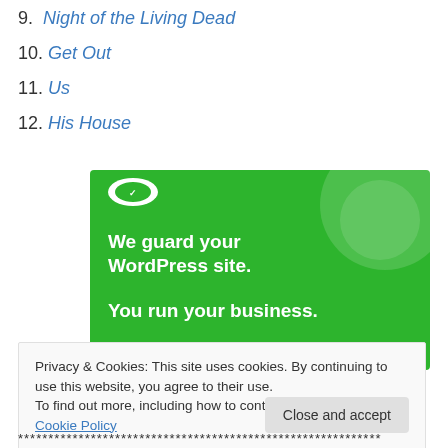9. Night of the Living Dead
10. Get Out
11. Us
12. His House
[Figure (screenshot): Green advertisement banner for a WordPress security service reading 'We guard your WordPress site. You run your business.']
Privacy & Cookies: This site uses cookies. By continuing to use this website, you agree to their use.
To find out more, including how to control cookies, see here: Cookie Policy
************************************************************